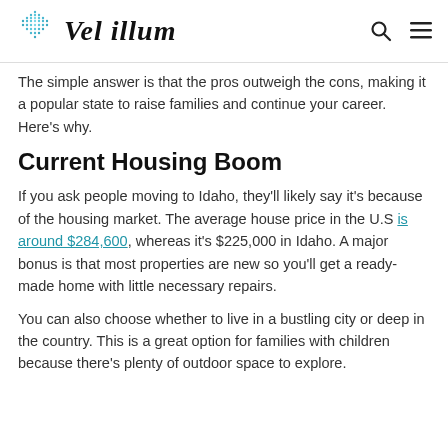Vel illum
The simple answer is that the pros outweigh the cons, making it a popular state to raise families and continue your career. Here's why.
Current Housing Boom
If you ask people moving to Idaho, they'll likely say it's because of the housing market. The average house price in the U.S is around $284,600, whereas it's $225,000 in Idaho. A major bonus is that most properties are new so you'll get a ready-made home with little necessary repairs.
You can also choose whether to live in a bustling city or deep in the country. This is a great option for families with children because there's plenty of outdoor space to explore.